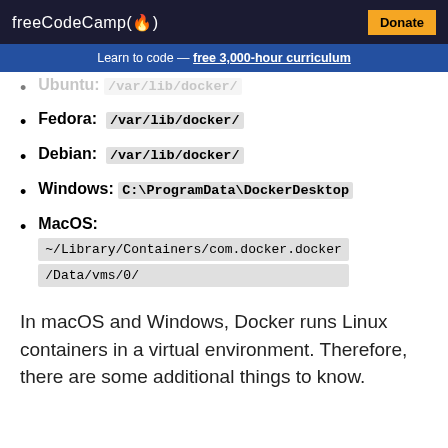freeCodeCamp(🔥)  Donate
Learn to code — free 3,000-hour curriculum
Ubuntu: /var/lib/docker/
Fedora: /var/lib/docker/
Debian: /var/lib/docker/
Windows: C:\ProgramData\DockerDesktop
MacOS: ~/Library/Containers/com.docker.docker/Data/vms/0/
In macOS and Windows, Docker runs Linux containers in a virtual environment. Therefore, there are some additional things to know.